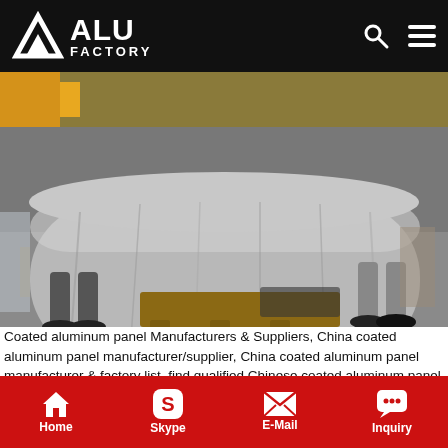ALU FACTORY
[Figure (photo): Workers in a factory handling a large silver-wrapped aluminum roll on a wooden pallet on a factory floor.]
Coated aluminum panel Manufacturers & Suppliers, China coated aluminum panel manufacturer/supplier, China coated aluminum panel manufacturer & factory list, find qualified Chinese coated aluminum panel manufacturers, suppliers, factories, exporters & wholesalers quickly on Made-in-China.com.
Get Price
Home  Skype  E-Mail  Inquiry